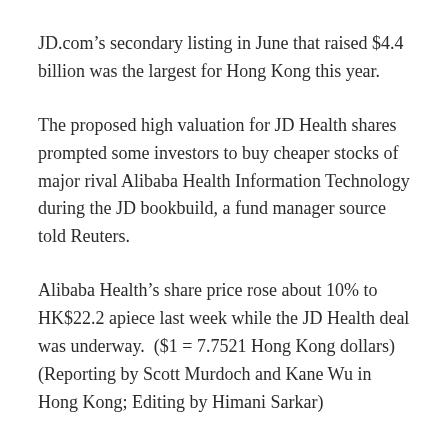JD.com’s secondary listing in June that raised $4.4 billion was the largest for Hong Kong this year.
The proposed high valuation for JD Health shares prompted some investors to buy cheaper stocks of major rival Alibaba Health Information Technology during the JD bookbuild, a fund manager source told Reuters.
Alibaba Health’s share price rose about 10% to HK$22.2 apiece last week while the JD Health deal was underway. ($1 = 7.7521 Hong Kong dollars) (Reporting by Scott Murdoch and Kane Wu in Hong Kong; Editing by Himani Sarkar)